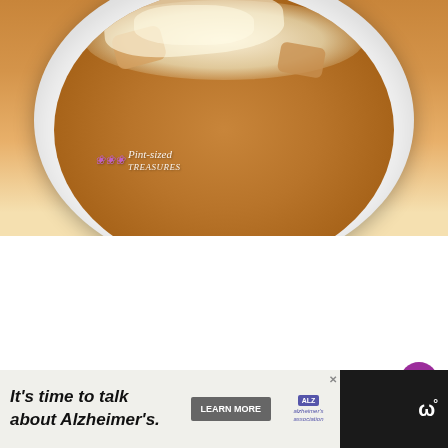[Figure (photo): Close-up photo of a white ceramic bowl containing pasta or food with melted cheese on top, sitting on a wooden surface. Watermark reads 'Pint-sized Treasures' with flower icons.]
[Figure (infographic): Advertisement banner: left green section says 'COOKIE DOUGH', middle white section says 'Childhood cancer didn't stop for COVID-19.', right orange section shows 'cookies for kids cancer' logo with 'GET BAKING' call to action.]
[Figure (infographic): Social sharing sidebar with purple heart button showing count of 4, and a share button below.]
[Figure (infographic): What's Next section showing thumbnail image and text '15 Minute Easy Chees...']
[Figure (infographic): Bottom advertisement banner on dark background: 'It's time to talk about Alzheimer's.' with Learn More button and Alzheimer's Association logo. Right side shows website logo in white.]